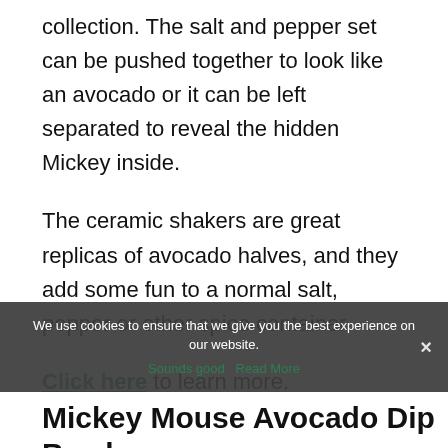collection. The salt and pepper set can be pushed together to look like an avocado or it can be left separated to reveal the hidden Mickey inside.
The ceramic shakers are great replicas of avocado halves, and they add some fun to a normal salt, pepper or other spice container.
Click here to learn more.
We use cookies to ensure that we give you the best experience on our website.
Sounds good   Read More
Mickey Mouse Avocado Dip Bowl